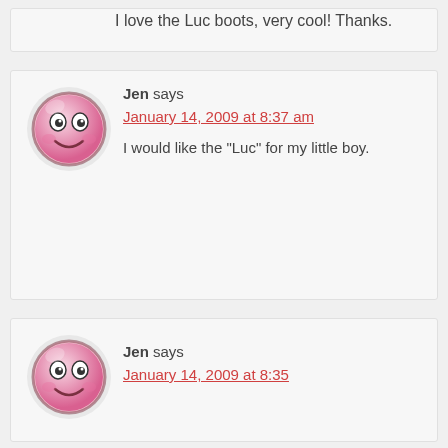I love the Luc boots, very cool! Thanks.
Jen says
January 14, 2009 at 8:37 am
I would like the “Luc” for my little boy.
Jen says
January 14, 2009 at 8:35